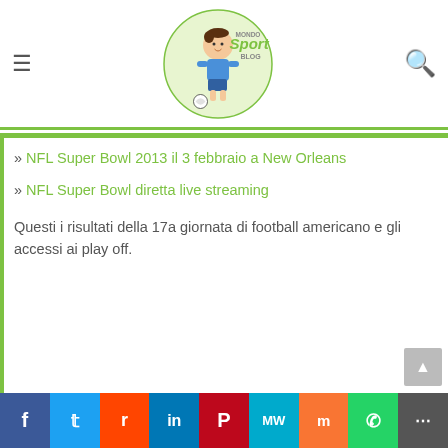Mondo Sport Blog
» NFL Super Bowl 2013 il 3 febbraio a New Orleans
» NFL Super Bowl diretta live streaming
Questi i risultati della 17a giornata di football americano e gli accessi ai play off.
Facebook Twitter Reddit LinkedIn Pinterest MixW Mix WhatsApp Share